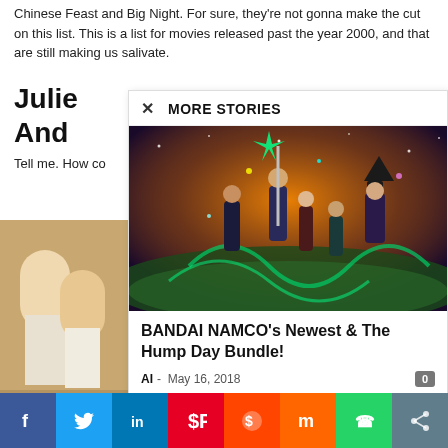Chinese Feast and Big Night. For sure, they're not gonna make the cut on this list. This is a list for movies released past the year 2000, and that are still making us salivate.
Julie And
Tell me. How co
[Figure (photo): Photo of people at a restaurant or dining scene, partially obscured by overlay panel]
[Figure (screenshot): More Stories overlay panel showing a BANDAI NAMCO article with anime-style illustration of witches/characters]
BANDAI NAMCO's Newest & The Hump Day Bundle!
AI - May 16, 2018
[Figure (photo): Bottom strip photos partially visible]
Social share bar: Facebook, Twitter, LinkedIn, Pinterest, Reddit, Mix, WhatsApp, Share